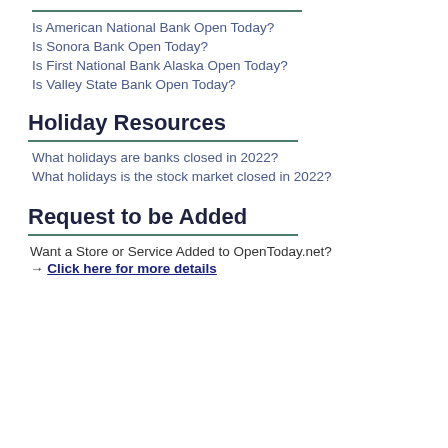Is American National Bank Open Today?
Is Sonora Bank Open Today?
Is First National Bank Alaska Open Today?
Is Valley State Bank Open Today?
Holiday Resources
What holidays are banks closed in 2022?
What holidays is the stock market closed in 2022?
Request to be Added
Want a Store or Service Added to OpenToday.net?
→ Click here for more details